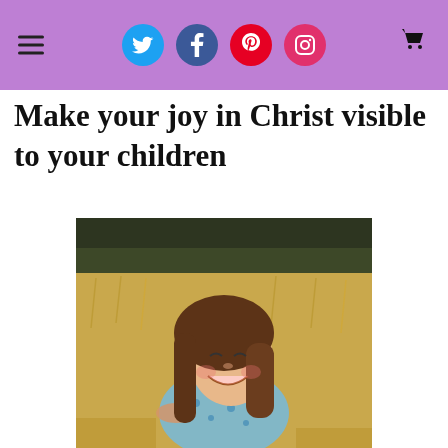Navigation bar with hamburger menu, social media icons (Twitter, Facebook, Pinterest, Instagram), and cart icon
Make your joy in Christ visible to your children
[Figure (photo): A smiling young girl with long brown hair lying in a golden grain field, wearing a light blue floral dress, laughing joyfully]